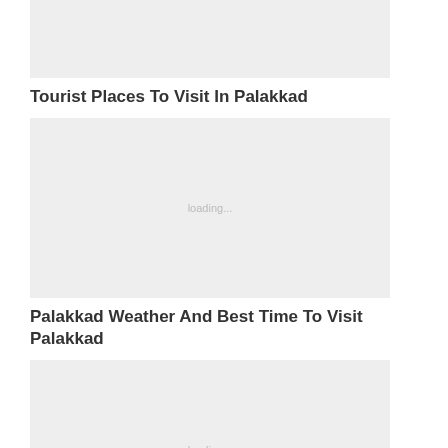[Figure (photo): Image placeholder loading, top article image for Tourist Places To Visit In Palakkad]
Tourist Places To Visit In Palakkad
[Figure (photo): Image placeholder loading, article image for Palakkad Weather And Best Time To Visit Palakkad]
Palakkad Weather And Best Time To Visit Palakkad
[Figure (photo): Image placeholder loading, article image for How To Reach Palakkad]
How To Reach Palakkad
[Figure (photo): Image placeholder loading, bottom article image]